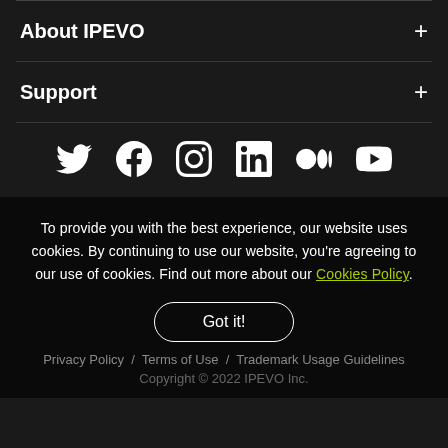About IPEVO
Support
[Figure (infographic): Social media icons row: Twitter, Facebook, Instagram, LinkedIn, Medium, YouTube]
To provide you with the best experience, our website uses cookies. By continuing to use our website, you're agreeing to our use of cookies. Find out more about our Cookies Policy.
Got it!
Privacy Policy / Terms of Use / Trademark Usage Guidelines
Copyright © 2022 IPEVO Inc.